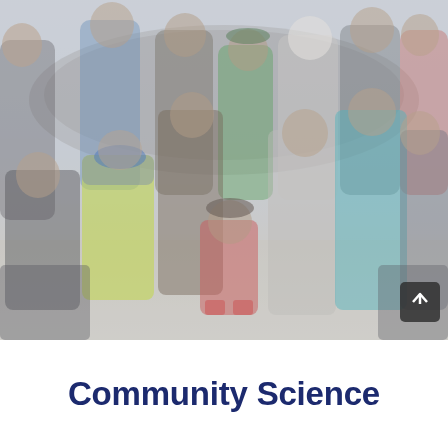[Figure (photo): A large group of people, approximately 15-20 individuals of various ages, posing together outdoors. They are smiling and appear to be at a community or volunteer event. Notable clothing includes a bright yellow safety vest, a red vest on a child, a teal jacket, and a green shirt. The background shows a rocky or earthen structure. There is a dark scroll-to-top arrow button visible in the lower right corner of the image.]
Community Science